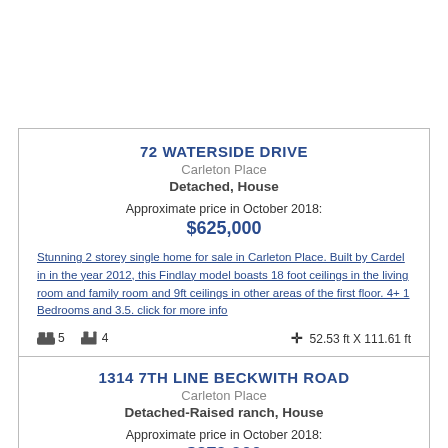72 WATERSIDE DRIVE
Carleton Place
Detached, House
Approximate price in October 2018:
$625,000
Stunning 2 storey single home for sale in Carleton Place. Built by Cardel in in the year 2012, this Findlay model boasts 18 foot ceilings in the living room and family room and 9ft ceilings in other areas of the first floor. 4+ 1 Bedrooms and 3.5. click for more info
5 bedrooms, 4 bathrooms, 52.53 ft X 111.61 ft
1314 7TH LINE BECKWITH ROAD
Carleton Place
Detached-Raised ranch, House
Approximate price in October 2018:
$379,900